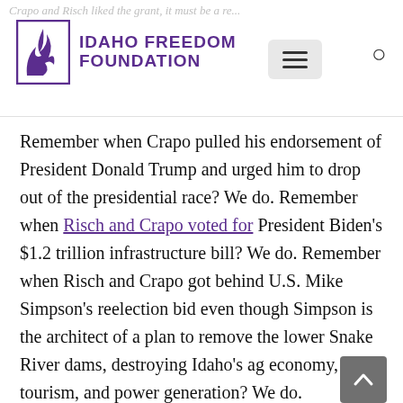Idaho Freedom Foundation
Remember when Crapo pulled his endorsement of President Donald Trump and urged him to drop out of the presidential race? We do. Remember when Risch and Crapo voted for President Biden’s $1.2 trillion infrastructure bill? We do. Remember when Risch and Crapo got behind U.S. Mike Simpson’s reelection bid even though Simpson is the architect of a plan to remove the lower Snake River dams, destroying Idaho’s ag economy, tourism, and power generation? We do.
A couple of weeks ago, Fox News commentator Tucker Carlson blasted Risch as a “pompous neocon buffon” and a “moron masquerading as a U.S. senator.” But you probably didn’t read about that in your leftist